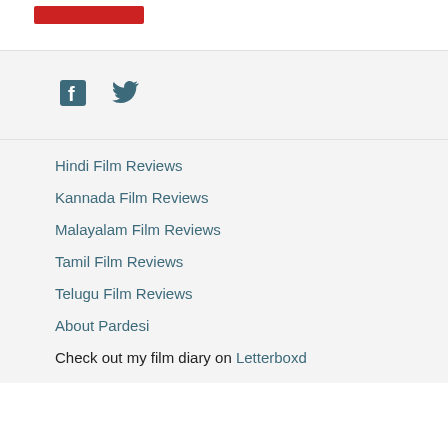[Figure (other): Red button/banner in top bar]
[Figure (other): Social media icons: Facebook (f) and Twitter (bird) in teal/dark blue color]
Hindi Film Reviews
Kannada Film Reviews
Malayalam Film Reviews
Tamil Film Reviews
Telugu Film Reviews
About Pardesi
Check out my film diary on Letterboxd